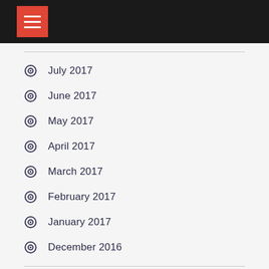Navigation menu header bar
July 2017
June 2017
May 2017
April 2017
March 2017
February 2017
January 2017
December 2016
Recent Posts